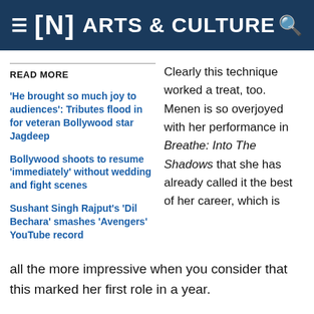[N] ARTS & CULTURE
READ MORE
'He brought so much joy to audiences': Tributes flood in for veteran Bollywood star Jagdeep
Bollywood shoots to resume 'immediately' without wedding and fight scenes
Sushant Singh Rajput's 'Dil Bechara' smashes 'Avengers' YouTube record
Clearly this technique worked a treat, too. Menen is so overjoyed with her performance in Breathe: Into The Shadows that she has already called it the best of her career, which is all the more impressive when you consider that this marked her first role in a year.